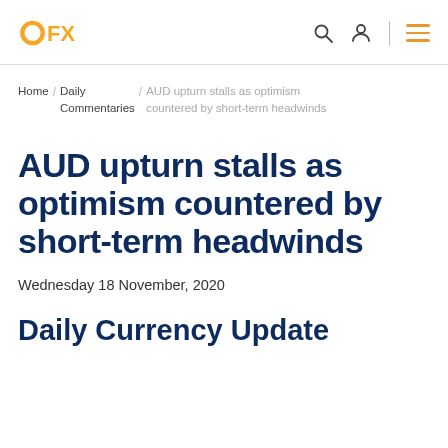OFX — header navigation with logo, search, account, and menu icons
Home / Daily Commentaries / AUD upturn stalls as optimism countered by short-term headwinds
AUD upturn stalls as optimism countered by short-term headwinds
Wednesday 18 November, 2020
Daily Currency Update